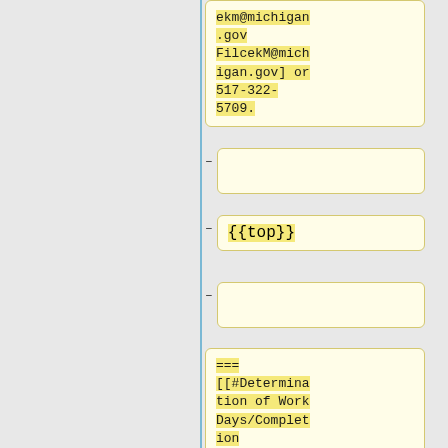ekm@michigan.gov FilcekM@michigan.gov] or 517-322-5709.
–
– {{top}}
–
=== [[#Determination of Work Days/Completion Date|Determination of Work Days/Completion ion